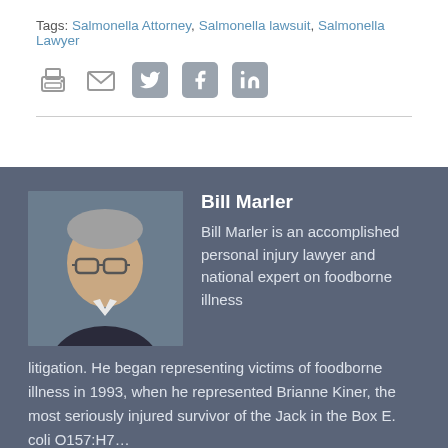Tags: Salmonella Attorney, Salmonella lawsuit, Salmonella Lawyer
[Figure (other): Social sharing icons: print, email, Twitter, Facebook, LinkedIn]
[Figure (photo): Headshot photo of Bill Marler, older man with glasses and gray hair, wearing dark blazer]
Bill Marler
Bill Marler is an accomplished personal injury lawyer and national expert on foodborne illness litigation. He began representing victims of foodborne illness in 1993, when he represented Brianne Kiner, the most seriously injured survivor of the Jack in the Box E. coli O157:H7…
Show more ∨